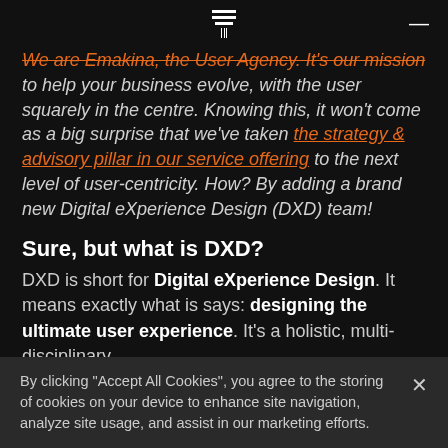[Logo icon] [Menu icon]
We are Emakina, the User Agency. It's our mission to help your business evolve, with the user squarely in the centre. Knowing this, it won't come as a big surprise that we've taken the strategy & advisory pillar in our service offering to the next level of user-centricity. How? By adding a brand new Digital eXperience Design (DXD) team!
Sure, but what is DXD?
DXD is short for Digital eXperience Design. It means exactly what is says: designing the ultimate user experience. It's a holistic, multi-disciplinary
By clicking "Accept All Cookies", you agree to the storing of cookies on your device to enhance site navigation, analyze site usage, and assist in our marketing efforts.